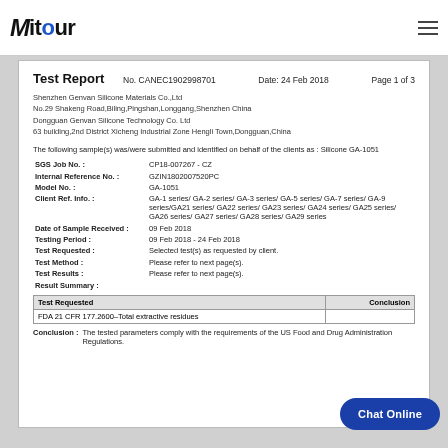Mitour
Test Report
No. CANEC1902998701   Date: 24 Feb 2018   Page 1 of 3
Shenzhen Genvan Silicone Materials Co.,Ltd
No.29 Shakeng Road,Biling,Pingshan,Longgang,Shenzhen China
Dongguan Genvan Silicone Technology Co. Ltd
63 building,2nd District Xicheng Industrial Zone Hengli Town,Dongguan,China
The following sample(s) was/were submitted and identified on behalf of the clients as : Silicone GA-1051
| SGS Job No. : | CP18-007267 - CZ |
| Internal Reference No. : | GZIN1802007520PC |
| Model No. : | GA-1051 |
| Client Ref. Info. : | GA-1 series/ GA-2 series/ GA-3 series/ GA-5 series/ GA-7 series/ GA-9 series/GA21 series/ GA22 series/ GA23 series/ GA24 series/ GA25 series/ GA26 series/ GA27 series/ GA28 series/ GA29 series |
| Date of Sample Received : | 09 Feb 2018 |
| Testing Period : | 09 Feb 2018 - 24 Feb 2018 |
| Test Requested : | Selected test(s) as requested by client. |
| Test Method : | Please refer to next page(s). |
| Test Results : | Please refer to next page(s). |
| Result Summary : |  |
| Test Requested | Conclusion |
| --- | --- |
| FDA 21 CFR 177.2600–Total extractive residues |  |
Conclusion :   The tested parameters comply with the requirements of the US Food and Drug Administration Regulations.